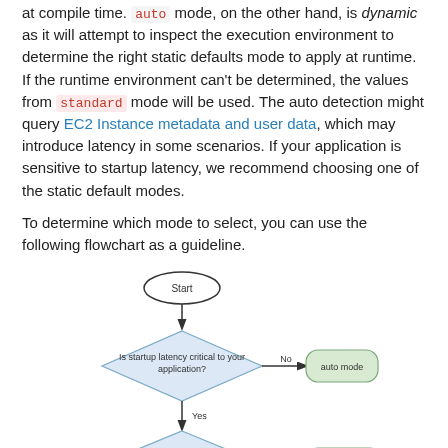at compile time. auto mode, on the other hand, is dynamic as it will attempt to inspect the execution environment to determine the right static defaults mode to apply at runtime. If the runtime environment can't be determined, the values from standard mode will be used. The auto detection might query EC2 Instance metadata and user data, which may introduce latency in some scenarios. If your application is sensitive to startup latency, we recommend choosing one of the static default modes.
To determine which mode to select, you can use the following flowchart as a guideline.
[Figure (flowchart): Flowchart for selecting mode. Start oval -> diamond 'Is startup latency critical to your application?' -> No leads to 'auto mode' rounded rectangle (green). Yes leads down to diamond 'Is it mobile application?' -> Yes leads to 'mobile mode' rounded rectangle (green).]